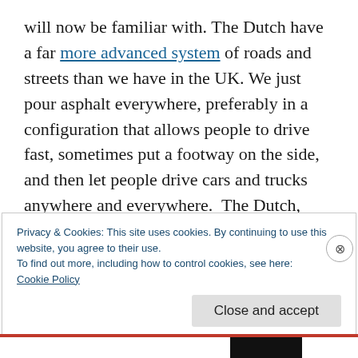will now be familiar with. The Dutch have a far more advanced system of roads and streets than we have in the UK. We just pour asphalt everywhere, preferably in a configuration that allows people to drive fast, sometimes put a footway on the side, and then let people drive cars and trucks anywhere and everywhere. The Dutch, meanwhile, take care to distinguish between roads, streets and lanes, build them differently, and have clear and widely understood differences in the expected use of
Privacy & Cookies: This site uses cookies. By continuing to use this website, you agree to their use.
To find out more, including how to control cookies, see here:
Cookie Policy
Close and accept